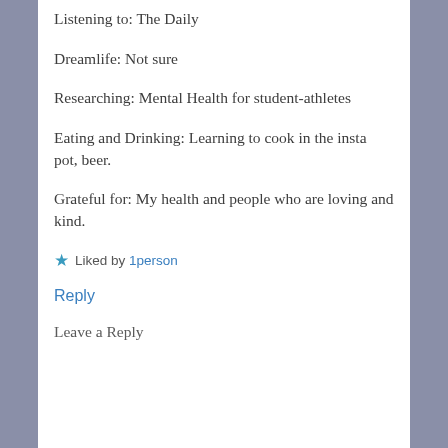Listening to: The Daily
Dreamlife: Not sure
Researching: Mental Health for student-athletes
Eating and Drinking: Learning to cook in the insta pot, beer.
Grateful for: My health and people who are loving and kind.
★ Liked by 1person
Reply
Leave a Reply